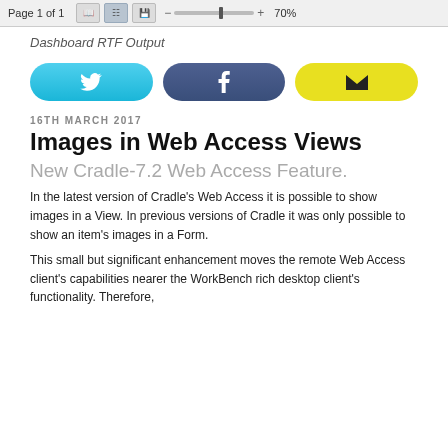Page 1 of 1   70%
Dashboard RTF Output
[Figure (infographic): Three social media share buttons: Twitter (cyan/blue rounded), Facebook (dark blue rounded), Email (yellow rounded)]
16TH MARCH 2017
Images in Web Access Views
New Cradle-7.2 Web Access Feature.
In the latest version of Cradle's Web Access it is possible to show images in a View. In previous versions of Cradle it was only possible to show an item's images in a Form.
This small but significant enhancement moves the remote Web Access client's capabilities nearer the WorkBench rich desktop client's functionality. Therefore,